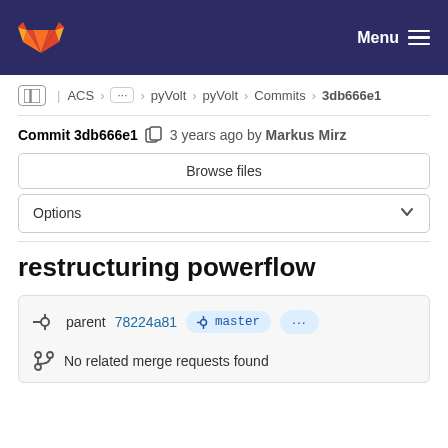GitLab navigation bar with Menu
ACS > ... > pyVolt > pyVolt > Commits > 3db666e1
Commit 3db666e1  3 years ago by Markus Mirz
Browse files
Options
restructuring powerflow
parent 78224a81  master  ...
No related merge requests found